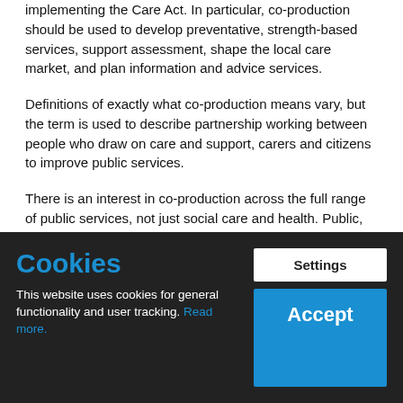implementing the Care Act. In particular, co-production should be used to develop preventative, strength-based services, support assessment, shape the local care market, and plan information and advice services.
Definitions of exactly what co-production means vary, but the term is used to describe partnership working between people who draw on care and support, carers and citizens to improve public services.
There is an interest in co-production across the full range of public services, not just social care and health. Public, voluntary and private sector organisations and politicians have shown an interest in co-production. This interest reflects the widespread acknowledgement that the citizen has a vital role in achieving positive outcomes from public services.
[Figure (screenshot): Cookie consent banner with dark background, 'Cookies' heading in blue, settings and accept buttons]